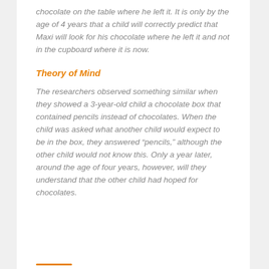chocolate on the table where he left it. It is only by the age of 4 years that a child will correctly predict that Maxi will look for his chocolate where he left it and not in the cupboard where it is now.
Theory of Mind
The researchers observed something similar when they showed a 3-year-old child a chocolate box that contained pencils instead of chocolates. When the child was asked what another child would expect to be in the box, they answered “pencils,” although the other child would not know this. Only a year later, around the age of four years, however, will they understand that the other child had hoped for chocolates.